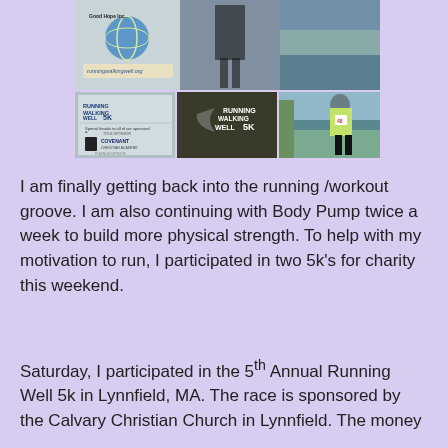[Figure (photo): Collage of three photos related to Running Walking Well 5K event: top photo shows a person holding a sign with a globe logo and runningwalkingwell.org text visible; bottom-left shows a sponsorship banner with Running Walking Well 5K logo and Covenant Christian Academy sponsor text; bottom-center shows the back of a dark t-shirt with Running Walking Well 5K logo; bottom-right shows a woman in a yellow shirt and race bib number 48 standing near a lake.]
I am finally getting back into the running /workout groove.  I am also continuing with Body Pump twice a week to build more physical strength.  To help with my motivation to run, I participated in two 5k's for charity this weekend.
Saturday, I participated in the 5th Annual Running Well 5k in Lynnfield, MA.   The race is sponsored by the Calvary Christian Church in Lynnfield. The money